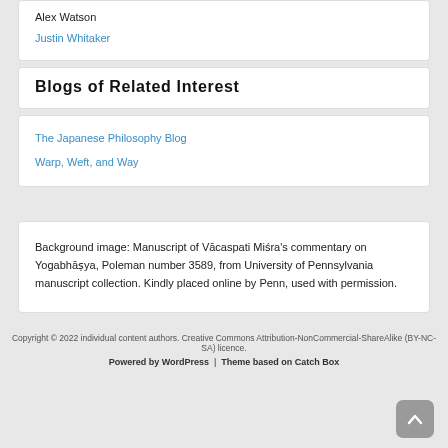Alex Watson
Justin Whitaker
Blogs of Related Interest
The Japanese Philosophy Blog
Warp, Weft, and Way
Background image: Manuscript of Vācaspati Miśra's commentary on Yogabhāṣya, Poleman number 3589, from University of Pennsylvania manuscript collection. Kindly placed online by Penn, used with permission.
Copyright © 2022 individual content authors. Creative Commons Attribution-NonCommercial-ShareAlike (BY-NC-SA) licence. Powered by WordPress | Theme based on Catch Box